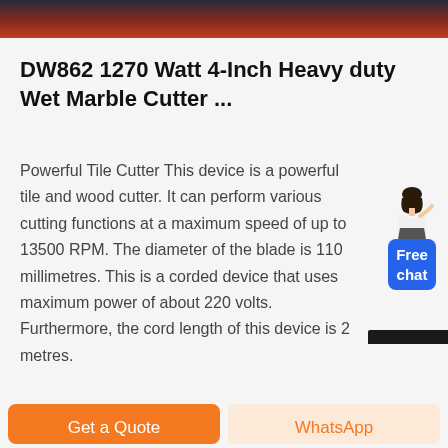[Figure (photo): Top image bar showing a dark reddish-brown gradient background, partial product/scene image]
DW862 1270 Watt 4-Inch Heavy duty Wet Marble Cutter ...
Powerful Tile Cutter This device is a powerful tile and wood cutter. It can perform various cutting functions at a maximum speed of up to 13500 RPM. The diameter of the blade is 110 millimetres. This is a corded device that uses maximum power of about 220 volts. Furthermore, the cord length of this device is 2 metres.
[Figure (illustration): Free chat widget with a small avatar figure of a woman and a blue rounded button labeled Free chat]
Get a Quote
WhatsApp